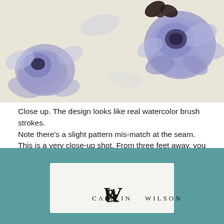[Figure (photo): Close-up photograph of floral wallpaper with purple/violet watercolor-style flowers and dark butterfly on a cream background]
Close up. The design looks like real watercolor brush strokes.
Note there's a slight pattern mis-match at the seam. This is a very close-up shot. From three feet away, you don't notice it.
Tomorrow I'm hanging another room with the same pattern but from a different run … Let's see if the pattern matches better in the new run.
[Figure (photo): Photo of a Caitlin Wilson brand label/tag on teal fabric or wallpaper backing, showing the Caitlin Wilson logo text]